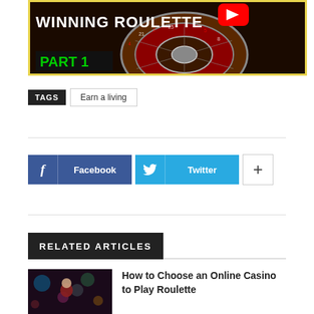[Figure (screenshot): YouTube video thumbnail showing a roulette wheel with text 'WINNING ROULETTE' in white bold letters and 'PART 1' in green, with a YouTube play button icon, bordered in yellow]
TAGS   Earn a living
[Figure (infographic): Social share buttons: Facebook button in blue, Twitter button in light blue, and a plus (+) button in white with border]
RELATED ARTICLES
[Figure (photo): Photo of a person at what appears to be a casino or party setting with colorful lights]
How to Choose an Online Casino to Play Roulette